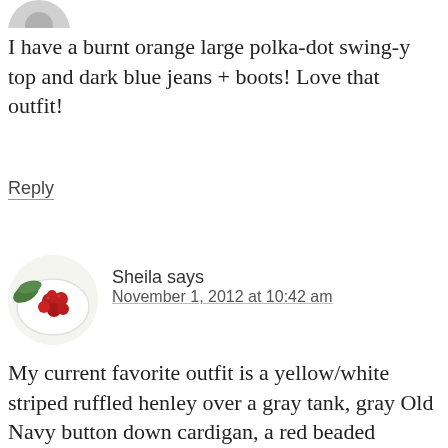[Figure (photo): Partial circular avatar image at top left, appears to be a decorative/food image, partially cropped]
I have a burnt orange large polka-dot swing-y top and dark blue jeans + boots! Love that outfit!
Reply
[Figure (photo): Circular avatar image showing cranberries/red berries on a white plate with green leaves]
Sheila says
November 1, 2012 at 10:42 am
My current favorite outfit is a yellow/white striped ruffled henley over a gray tank, gray Old Navy button down cardigan, a red beaded necklace, blue jeans and cognac colored Steve Madden boots.